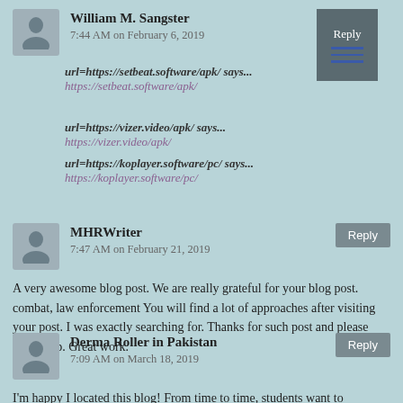William M. Sangster
7:44 AM on February 6, 2019
url=https://setbeat.software/apk/ says...
https://setbeat.software/apk/
url=https://vizer.video/apk/ says...
https://vizer.video/apk/
url=https://koplayer.software/pc/ says...
https://koplayer.software/pc/
MHRWriter
7:47 AM on February 21, 2019
A very awesome blog post. We are really grateful for your blog post. combat, law enforcement You will find a lot of approaches after visiting your post. I was exactly searching for. Thanks for such post and please keep it up. Great work.
Derma Roller in Pakistan
7:09 AM on March 18, 2019
I'm happy I located this blog! From time to time, students want to cognitive the bases of a better life. Nice find here.